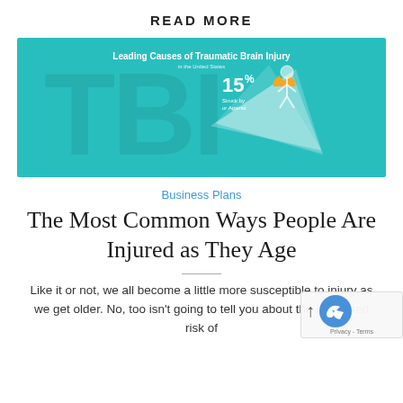READ MORE
[Figure (infographic): Infographic on teal background showing 'Leading Causes of Traumatic Brain Injury in the United States' with a highlighted section showing 15% Struck by or Against, featuring an illustration of a person.]
Business Plans
The Most Common Ways People Are Injured as They Age
Like it or not, we all become a little more susceptible to injury as we get older. No, too isn't going to tell you about the increased risk of